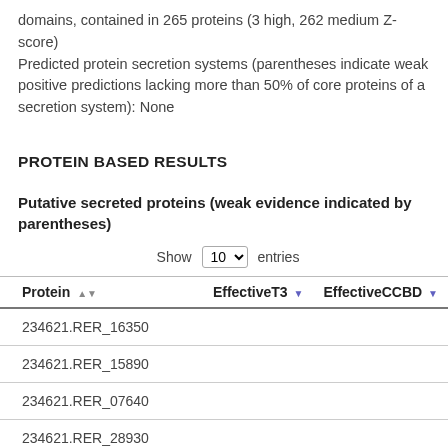domains, contained in 265 proteins (3 high, 262 medium Z-score)
Predicted protein secretion systems (parentheses indicate weak positive predictions lacking more than 50% of core proteins of a secretion system): None
PROTEIN BASED RESULTS
Putative secreted proteins (weak evidence indicated by parentheses)
Show 10 entries
| Protein | EffectiveT3 | EffectiveCCBD |
| --- | --- | --- |
| 234621.RER_16350 |  |  |
| 234621.RER_15890 |  |  |
| 234621.RER_07640 |  |  |
| 234621.RER_28930 |  |  |
| 234621.RER_51060 |  |  |